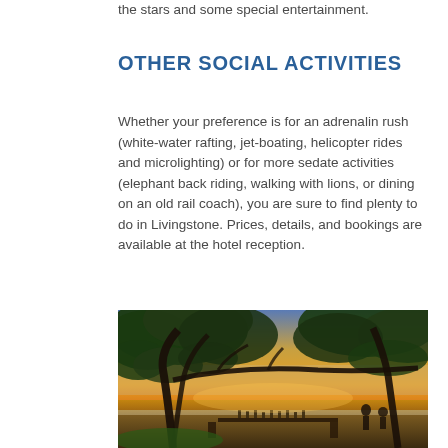the stars and some special entertainment.
OTHER SOCIAL ACTIVITIES
Whether your preference is for an adrenalin rush (white-water rafting, jet-boating, helicopter rides and microlighting) or for more sedate activities (elephant back riding, walking with lions, or dining on an old rail coach), you are sure to find plenty to do in Livingstone. Prices, details, and bookings are available at the hotel reception.
[Figure (photo): Outdoor dining or bar area at sunset under large trees, with silhouettes of trees and people, warm golden and orange sky in the background suggesting a riverside setting in Africa.]